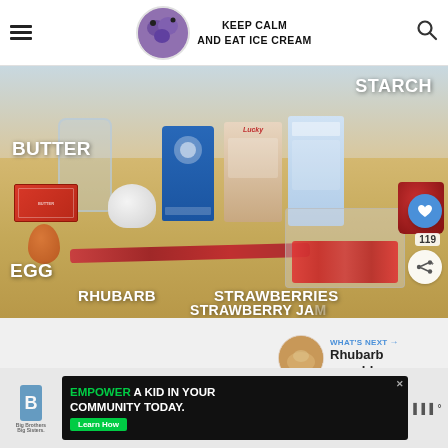KEEP CALM AND EAT ICE CREAM
[Figure (photo): Flat lay of baking ingredients on a wooden surface including butter, egg, rhubarb stalk, strawberries, strawberry jam, flour, almond meal, tapioca starch, and a glass jar. Text labels overlay the image: BUTTER, EGG, RHUBARB, STRAWBERRIES, STARCH, STRAWBERRY JAM]
WHAT'S NEXT → Rhubarb crumble
[Figure (screenshot): Advertisement banner: Big Brothers Big Sisters logo on left, ad text reading EMPOWER A KID IN YOUR COMMUNITY TODAY. with a Learn How button, close button in top right corner. Another logo on far right.]